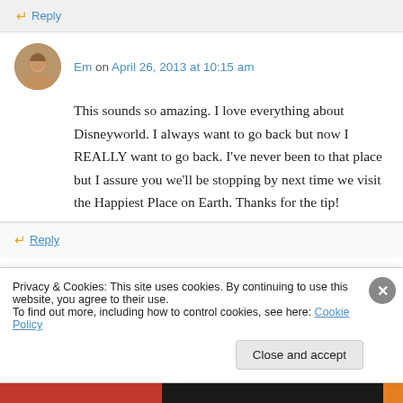Reply
Em on April 26, 2013 at 10:15 am
This sounds so amazing. I love everything about Disneyworld. I always want to go back but now I REALLY want to go back. I've never been to that place but I assure you we'll be stopping by next time we visit the Happiest Place on Earth. Thanks for the tip!
Reply
Privacy & Cookies: This site uses cookies. By continuing to use this website, you agree to their use.
To find out more, including how to control cookies, see here: Cookie Policy
Close and accept